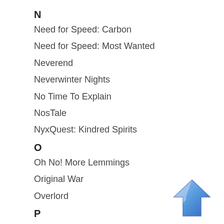N
Need for Speed: Carbon
Need for Speed: Most Wanted
Neverend
Neverwinter Nights
No Time To Explain
NosTale
NyxQuest: Kindred Spirits
O
Oh No! More Lemmings
Original War
Overlord
P
Pariah
Perimeter
Pool Paradise
[Figure (illustration): Blue upward-pointing arrow icon]